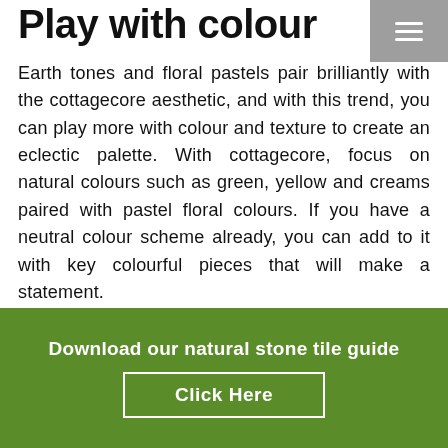Play with colour
Earth tones and floral pastels pair brilliantly with the cottagecore aesthetic, and with this trend, you can play more with colour and texture to create an eclectic palette. With cottagecore, focus on natural colours such as green, yellow and creams paired with pastel floral colours. If you have a neutral colour scheme already, you can add to it with key colourful pieces that will make a statement.
Experiment with different areas of the home
Download our natural stone tile guide
Click Here